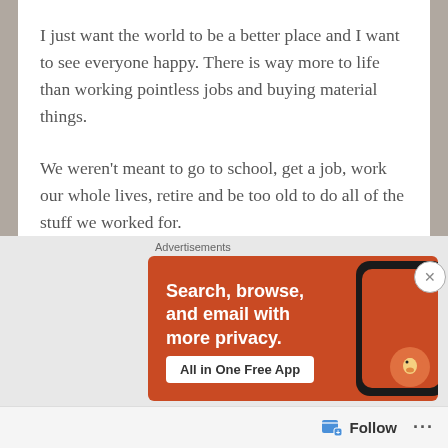I just want the world to be a better place and I want to see everyone happy. There is way more to life than working pointless jobs and buying material things.
We weren't meant to go to school, get a job, work our whole lives, retire and be too old to do all of the stuff we worked for.
So many people are unhappy nowadays and I just really want to make a change. We are all scared to be ourselves and we tend to do what everyone else is doing. But just because everyone else does it, doesn't make it right.
[Figure (other): DuckDuckGo advertisement banner with orange background, text 'Search, browse, and email with more privacy.' and button 'All in One Free App', with a phone image on the right.]
Follow ...